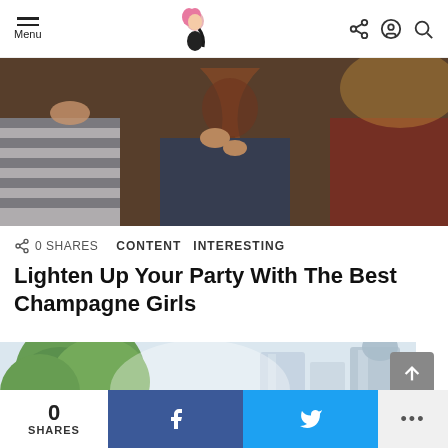Menu | [Logo] | Share, Account, Search icons
[Figure (photo): People clinking wine/champagne glasses at a party, close-up shot with warm tones]
0 SHARES   CONTENT  INTERESTING
Lighten Up Your Party With The Best Champagne Girls
[Figure (photo): Green tree on left with city skyscrapers in mist on the right]
0 SHARES  [Facebook share button]  [Twitter share button]  [More ...]